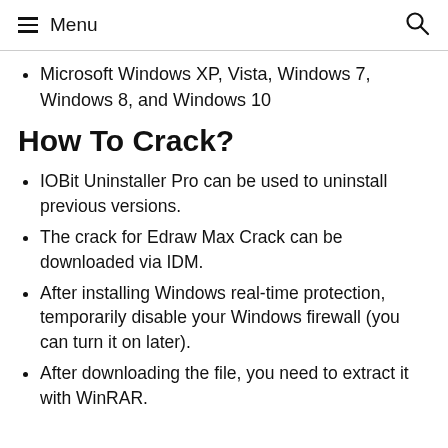≡ Menu  🔍
Microsoft Windows XP, Vista, Windows 7, Windows 8, and Windows 10
How To Crack?
IOBit Uninstaller Pro can be used to uninstall previous versions.
The crack for Edraw Max Crack can be downloaded via IDM.
After installing Windows real-time protection, temporarily disable your Windows firewall (you can turn it on later).
After downloading the file, you need to extract it with WinRAR.